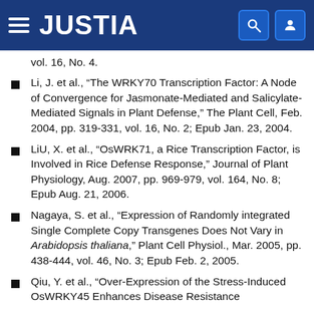JUSTIA
vol. 16, No. 4.
Li, J. et al., “The WRKY70 Transcription Factor: A Node of Convergence for Jasmonate-Mediated and Salicylate-Mediated Signals in Plant Defense,” The Plant Cell, Feb. 2004, pp. 319-331, vol. 16, No. 2; Epub Jan. 23, 2004.
LiU, X. et al., “OsWRK71, a Rice Transcription Factor, is Involved in Rice Defense Response,” Journal of Plant Physiology, Aug. 2007, pp. 969-979, vol. 164, No. 8; Epub Aug. 21, 2006.
Nagaya, S. et al., “Expression of Randomly integrated Single Complete Copy Transgenes Does Not Vary in Arabidopsis thaliana,” Plant Cell Physiol., Mar. 2005, pp. 438-444, vol. 46, No. 3; Epub Feb. 2, 2005.
Qiu, Y. et al., “Over-Expression of the Stress-Induced OsWRKY45 Enhances Disease Resistance